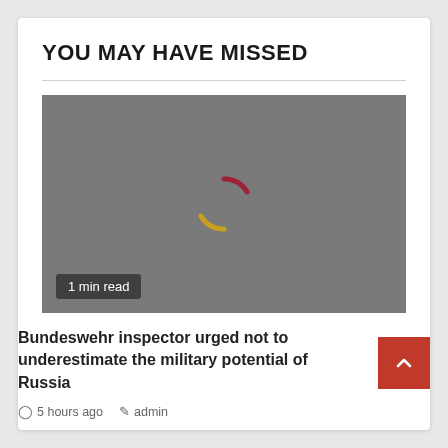YOU MAY HAVE MISSED
[Figure (photo): Gray placeholder image with a loading spinner icon in the center, showing a red arc on top and yellow arc on bottom]
1 min read
Bundeswehr inspector urged not to underestimate the military potential of Russia
5 hours ago  admin